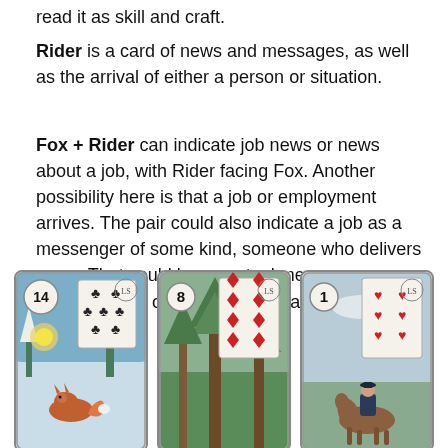read it as skill and craft.
Rider is a card of news and messages, as well as the arrival of either a person or situation.
Fox + Rider can indicate job news or news about a job, with Rider facing Fox. Another possibility here is that a job or employment arrives. The pair could also indicate a job as a messenger of some kind, someone who delivers news. That could be an actual messenger, a postal worker, or a news broadcaster.
[Figure (illustration): Three Lenormand tarot cards side by side: card 14 (Fox) showing clubs suit and a fox in snowy scene, card 8 (8 of diamonds) showing diamonds suit in a forest scene, card 1 (Rider) showing hearts suit and a rider on horseback.]